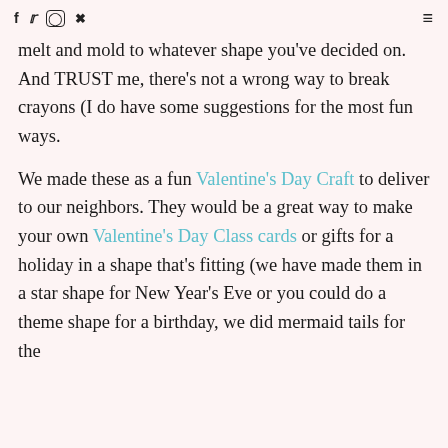f  tw  [instagram]  [pinterest]  [menu]
melt and mold to whatever shape you've decided on.  And TRUST me, there's not a wrong way to break crayons (I do have some suggestions for the most fun ways.

We made these as a fun Valentine's Day Craft to deliver to our neighbors.  They would be a great way to make your own Valentine's Day Class cards or gifts for a holiday in a shape that's fitting (we have made them in a star shape for New Year's Eve or you could do a theme shape for a birthday, we did mermaid tails for the